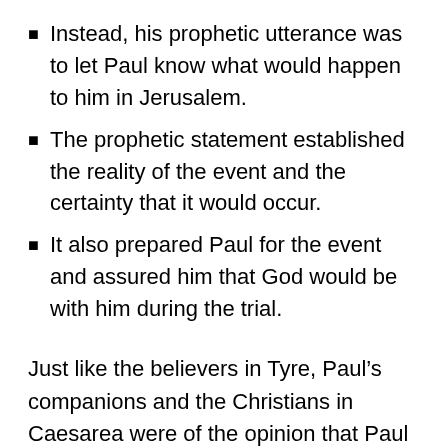Instead, his prophetic utterance was to let Paul know what would happen to him in Jerusalem.
The prophetic statement established the reality of the event and the certainty that it would occur.
It also prepared Paul for the event and assured him that God would be with him during the trial.
Just like the believers in Tyre, Paul’s companions and the Christians in Caesarea were of the opinion that Paul shouldn’t travel to Jerusalem. Luke includes himself in this opinion by the use of “we” in verse fourteen. The continued pleas from